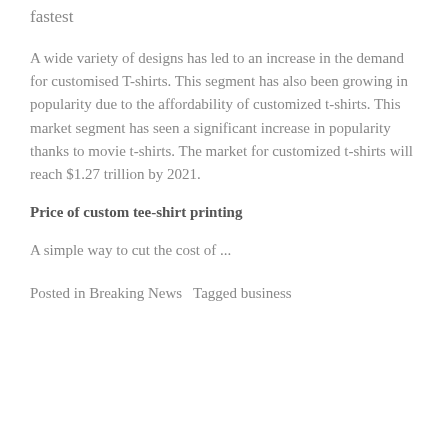fastest
A wide variety of designs has led to an increase in the demand for customised T-shirts. This segment has also been growing in popularity due to the affordability of customized t-shirts. This market segment has seen a significant increase in popularity thanks to movie t-shirts. The market for customized t-shirts will reach $1.27 trillion by 2021.
Price of custom tee-shirt printing
A simple way to cut the cost of ...
Posted in Breaking News  Tagged business